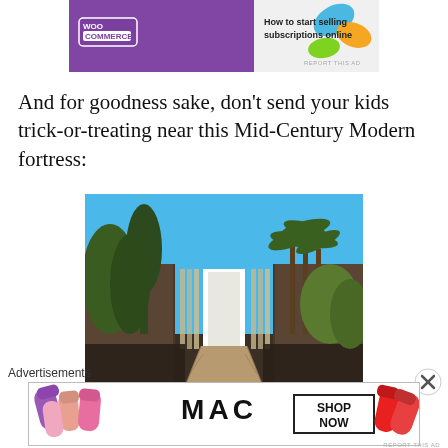[Figure (other): WooCommerce advertisement banner: 'How to start selling subscriptions online']
And for goodness sake, don't send your kids trick-or-treating near this Mid-Century Modern fortress:
[Figure (photo): Photo of a Mid-Century Modern house entrance with a white door, wooden walkway over water, flanked by dark wood walls, tall cypress trees and palm trees against a bright blue sky]
Advertisements
[Figure (other): MAC cosmetics advertisement with lipsticks and 'SHOP NOW' text]